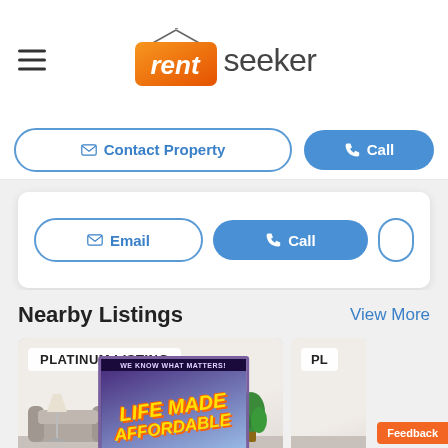[Figure (logo): RentSeeker logo with hamburger menu icon on the left and the rentseeker wordmark in the center]
Contact Property
Call
Email
Call
Nearby Listings
View More
[Figure (photo): Apartment interior photo with PLATINUM LISTING badge, showing a living room with a boardwalk advertisement poster saying LIFE MADE AFFORDABLE]
[Figure (photo): Partially visible second listing card with PL badge]
Feedback